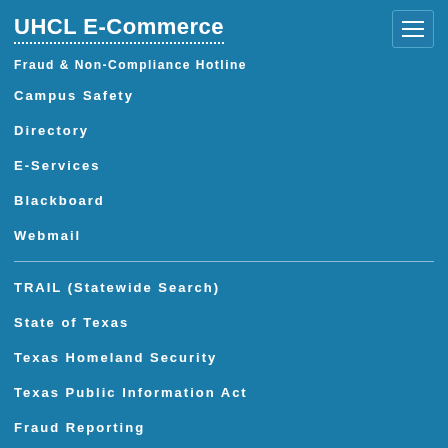UHCL E-Commerce
Fraud & Non-Compliance Hotline
Campus Safety
Directory
E-Services
Blackboard
Webmail
TRAIL (Statewide Search)
State of Texas
Texas Homeland Security
Texas Public Information Act
Fraud Reporting